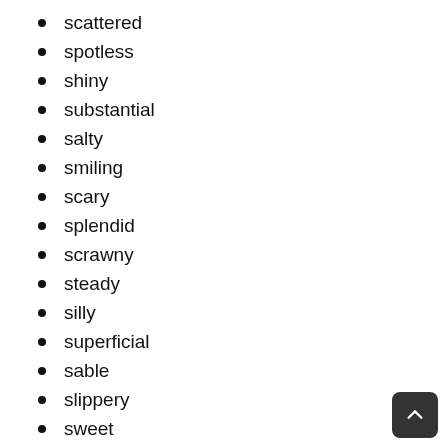scattered
spotless
shiny
substantial
salty
smiling
scary
splendid
scrawny
steady
silly
superficial
sable
slippery
sweet